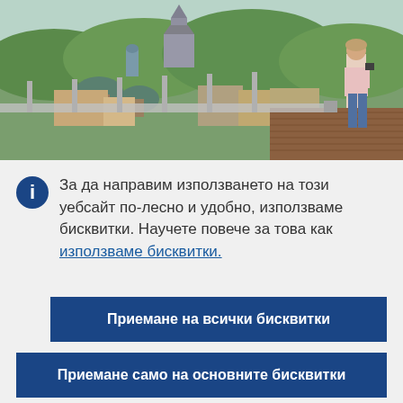[Figure (photo): Aerial/rooftop view of a European city with gothic cathedral and green trees; a person standing at a wooden railing in the foreground taking a photo.]
За да направим използването на този уебсайт по-лесно и удобно, използваме бисквитки. Научете повече за това как използваме бисквитки.
Приемане на всички бисквитки
Приемане само на основните бисквитки